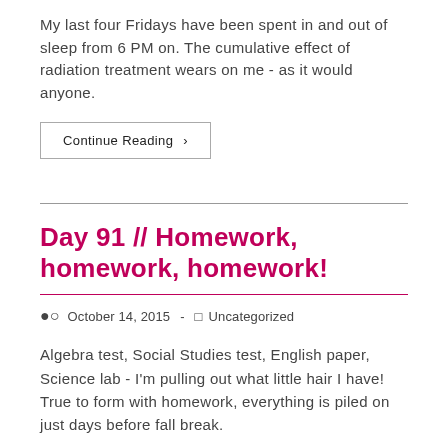My last four Fridays have been spent in and out of sleep from 6 PM on. The cumulative effect of radiation treatment wears on me - as it would anyone.
Continue Reading ›
Day 91 // Homework, homework, homework!
October 14, 2015 - Uncategorized
Algebra test, Social Studies test, English paper, Science lab - I'm pulling out what little hair I have! True to form with homework, everything is piled on just days before fall break.